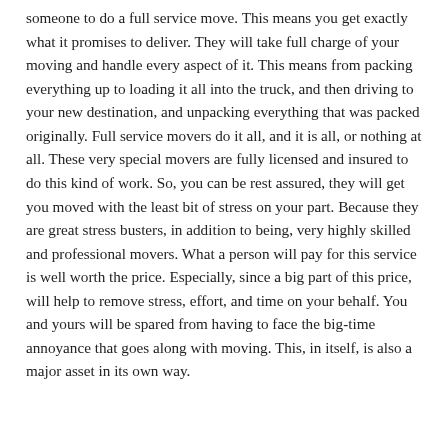someone to do a full service move. This means you get exactly what it promises to deliver. They will take full charge of your moving and handle every aspect of it. This means from packing everything up to loading it all into the truck, and then driving to your new destination, and unpacking everything that was packed originally. Full service movers do it all, and it is all, or nothing at all. These very special movers are fully licensed and insured to do this kind of work. So, you can be rest assured, they will get you moved with the least bit of stress on your part. Because they are great stress busters, in addition to being, very highly skilled and professional movers. What a person will pay for this service is well worth the price. Especially, since a big part of this price, will help to remove stress, effort, and time on your behalf. You and yours will be spared from having to face the big-time annoyance that goes along with moving. This, in itself, is also a major asset in its own way.